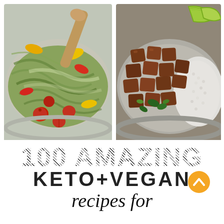[Figure (photo): Left photo: A bowl of zucchini noodles with avocado cream sauce topped with sliced cherry tomatoes and colorful bell peppers, with a wooden spoon.]
[Figure (photo): Right photo: A bowl of spiced tofu cubes served with cauliflower rice and lime wedges, garnished with herbs.]
100 AMAZING KETO+VEGAN recipes for
[Figure (illustration): Orange circle with white upward chevron arrow button in bottom right corner.]